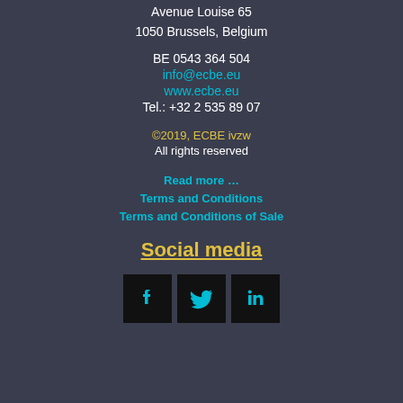Avenue Louise 65
1050 Brussels, Belgium
BE 0543 364 504
info@ecbe.eu
www.ecbe.eu
Tel.: +32 2 535 89 07
©2019, ECBE ivzw
All rights reserved
Read more …
Terms and Conditions
Terms and Conditions of Sale
Social media
[Figure (illustration): Three social media icons: Facebook (f), Twitter (bird), LinkedIn (in), each on a black square background]